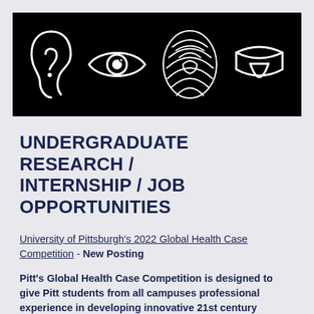[Figure (illustration): Black banner with white line-art icons of sensory organs: ear, eye, fingerprint, and mouth/tongue]
UNDERGRADUATE RESEARCH / INTERNSHIP / JOB OPPORTUNITIES
University of Pittsburgh's 2022 Global Health Case Competition - New Posting
Pitt's Global Health Case Competition is designed to give Pitt students from all campuses professional experience in developing innovative 21st century solutions and strategies to address a real-world global health issue.